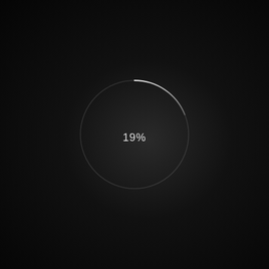[Figure (donut-chart): 19% progress indicator]